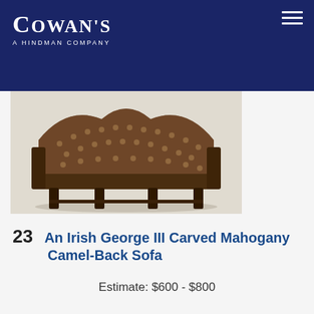[Figure (logo): Cowan's A Hindman Company logo in white on dark navy blue background]
[Figure (photo): Photograph of an Irish George III Carved Mahogany Camel-Back Sofa, showing the back and legs of the sofa with patterned upholstery in brown tones]
23  An Irish George III Carved Mahogany Camel-Back Sofa
Estimate: $600 - $800